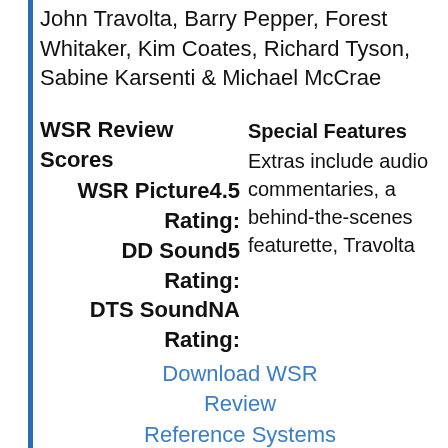John Travolta, Barry Pepper, Forest Whitaker, Kim Coates, Richard Tyson, Sabine Karsenti & Michael McCrae
| WSR Review Scores | Special Features |
| --- | --- |
| WSR Picture Rating: 4.5 | Extras include audio commentaries, a behind-the-scenes featurette, Travolta |
| DD Sound Rating: 5 |  |
| DTS Sound Rating: NA |  |
Download WSR Review
Reference Systems
Critics'1.5 Composite Score:
Internet Links